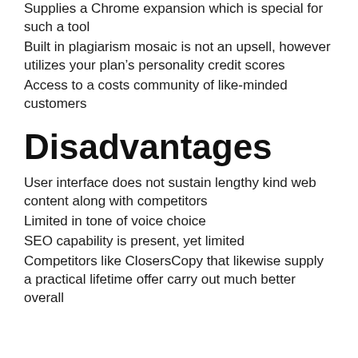Supplies a Chrome expansion which is special for such a tool
Built in plagiarism mosaic is not an upsell, however utilizes your plan’s personality credit scores
Access to a costs community of like-minded customers
Disadvantages
User interface does not sustain lengthy kind web content along with competitors
Limited in tone of voice choice
SEO capability is present, yet limited
Competitors like ClosersCopy that likewise supply a practical lifetime offer carry out much better overall